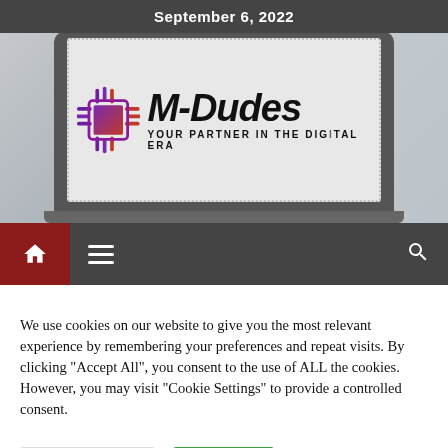September 6, 2022
[Figure (logo): M-Dudes logo on laptop screen with tagline YOUR PARTNER IN THE DIGITAL ERA, showing laptop on a desk with blurred background]
[Figure (screenshot): Navigation bar with red home icon block, hamburger menu icon, and search icon on dark grey background]
We use cookies on our website to give you the most relevant experience by remembering your preferences and repeat visits. By clicking “Accept All”, you consent to the use of ALL the cookies. However, you may visit "Cookie Settings" to provide a controlled consent.
Cookie Settings
Accept All